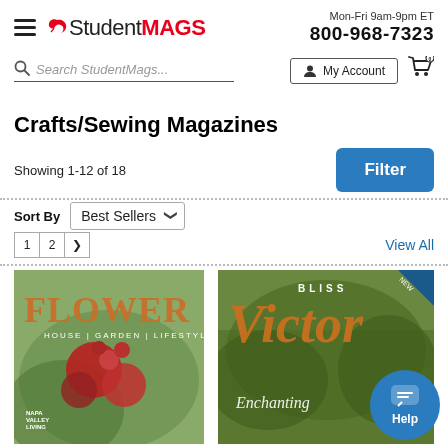StudentMAGS — Mon-Fri 9am-9pm ET 800-968-7323
Search StudentMags...
My Account
Crafts/Sewing Magazines
Showing 1-12 of 18
Filter
Sort By Best Sellers
1 2 ❯
View All
[Figure (photo): Cover of FLOWER magazine — House | Garden | Lifestyle with floral imagery and text 'Napa Valley Living']
[Figure (photo): Cover of Bliss Victor magazine — Enchanting, with garden/outdoor imagery]